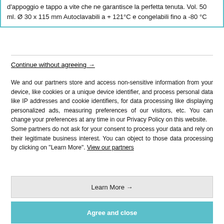d'appoggio e tappo a vite che ne garantisce la perfetta tenuta. Vol. 50 ml. Ø 30 x 115 mm Autoclavabili a + 121°C e congelabili fino a -80 °C
Continue without agreeing →
We and our partners store and access non-sensitive information from your device, like cookies or a unique device identifier, and process personal data like IP addresses and cookie identifiers, for data processing like displaying personalized ads, measuring preferences of our visitors, etc. You can change your preferences at any time in our Privacy Policy on this website.
Some partners do not ask for your consent to process your data and rely on their legitimate business interest. You can object to those data processing by clicking on "Learn More". View our partners
Learn More →
Agree and close